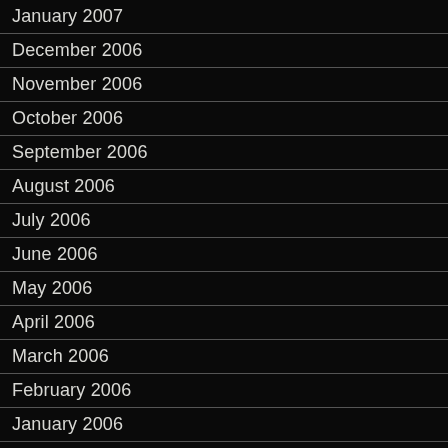January 2007
December 2006
November 2006
October 2006
September 2006
August 2006
July 2006
June 2006
May 2006
April 2006
March 2006
February 2006
January 2006